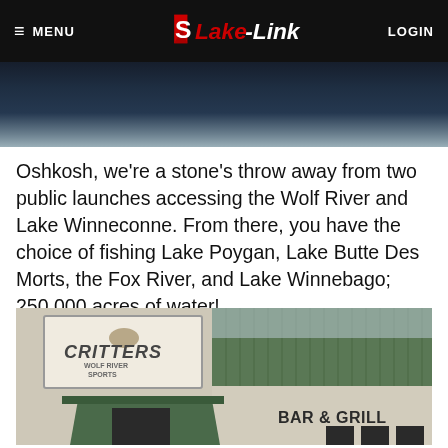MENU | LAKE-LINK | LOGIN
Oshkosh, we're a stone's throw away from two public launches accessing the Wolf River and Lake Winneconne. From there, you have the choice of fishing Lake Poygan, Lake Butte Des Morts, the Fox River, and Lake Winnebago; 250,000 acres of water!
[Figure (photo): Exterior photo of Critters Wolf River Sports Bar & Grill building with green metal roof, sign board, awning over entrance, and brick/stucco wall.]